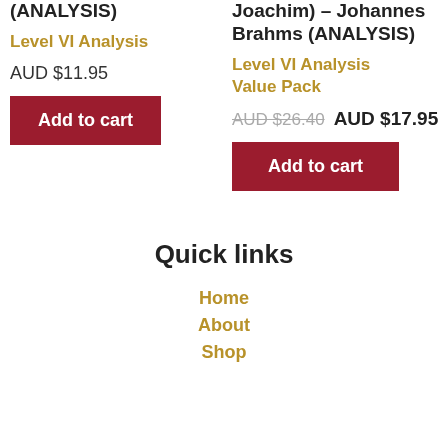(ANALYSIS)
Level VI Analysis
AUD $11.95
Add to cart
Joachim) – Johannes Brahms (ANALYSIS)
Level VI Analysis Value Pack
AUD $26.40 AUD $17.95
Add to cart
Quick links
Home
About
Shop